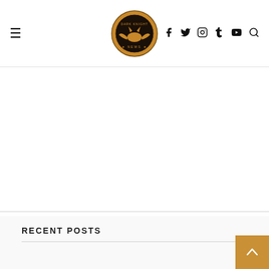Dark Knight News — site header with hamburger menu, logo, social icons (Facebook, Twitter, Instagram, Tumblr, YouTube, Search)
RECENT POSTS